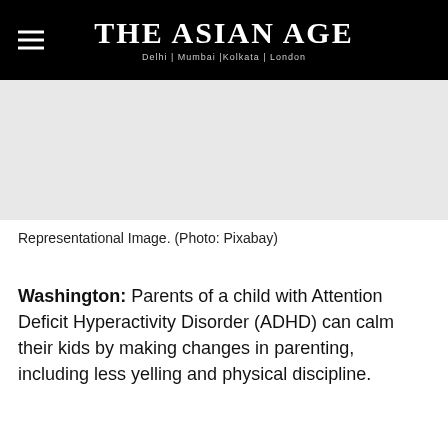THE ASIAN AGE — Delhi | Mumbai |Kolkata | London
[Figure (photo): Representational image placeholder (light grey background)]
Representational Image. (Photo: Pixabay)
Washington: Parents of a child with Attention Deficit Hyperactivity Disorder (ADHD) can calm their kids by making changes in parenting, including less yelling and physical discipline.